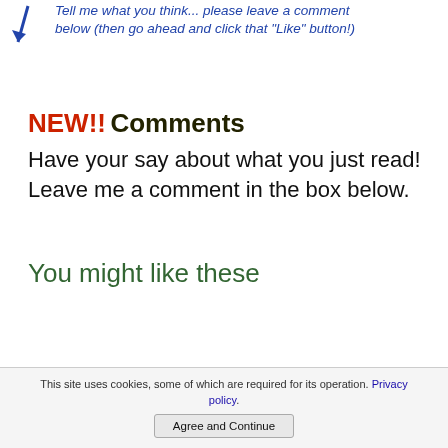[Figure (illustration): Blue arrow icon pointing down-left with blue italic text: Tell me what you think... please leave a comment below (then go ahead and click that "Like" button!)]
NEW!! Comments
Have your say about what you just read! Leave me a comment in the box below.
You might like these
This site uses cookies, some of which are required for its operation. Privacy policy.
Agree and Continue